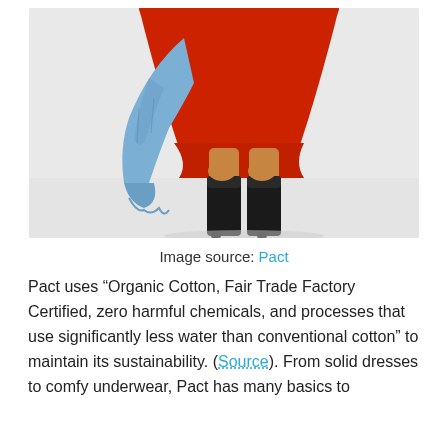[Figure (photo): A fashion photo showing the lower body of a person wearing a red dress and black slouch boots, holding a denim jacket, against a white/light grey background.]
Image source: Pact
Pact uses “Organic Cotton, Fair Trade Factory Certified, zero harmful chemicals, and processes that use significantly less water than conventional cotton” to maintain its sustainability. (Source). From solid dresses to comfy underwear, Pact has many basics to